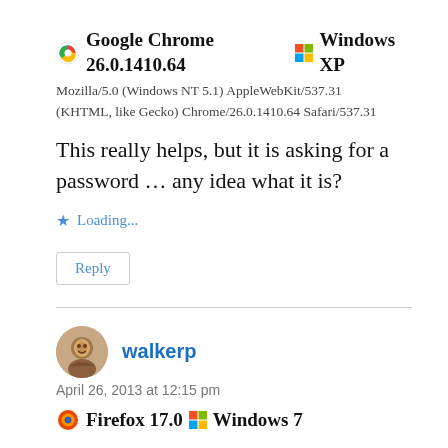Google Chrome 26.0.1410.64  Windows XP
Mozilla/5.0 (Windows NT 5.1) AppleWebKit/537.31 (KHTML, like Gecko) Chrome/26.0.1410.64 Safari/537.31
This really helps, but it is asking for a password ... any idea what it is?
Loading...
Reply
walkerp
April 26, 2013 at 12:15 pm
Firefox 17.0  Windows 7